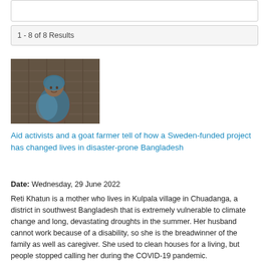1 - 8 of 8 Results
[Figure (photo): A woman wearing a blue headscarf and patterned clothing, standing in front of a structure with shelves or cages in the background.]
Aid activists and a goat farmer tell of how a Sweden-funded project has changed lives in disaster-prone Bangladesh
Date: Wednesday, 29 June 2022
Reti Khatun is a mother who lives in Kulpala village in Chuadanga, a district in southwest Bangladesh that is extremely vulnerable to climate change and long, devastating droughts in the summer. Her husband cannot work because of a disability, so she is the breadwinner of the family as well as caregiver. She used to clean houses for a living, but people stopped calling her during the COVID-19 pandemic.